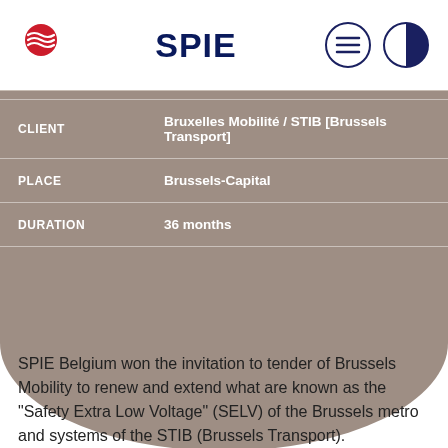[Figure (logo): SPIE company logo with red circular icon and dark blue SPIE text]
[Figure (logo): Hamburger menu icon (three horizontal lines in circle) and contrast/half-circle icon]
| CLIENT | Bruxelles Mobilité / STIB [Brussels Transport] |
| PLACE | Brussels-Capital |
| DURATION | 36 months |
SPIE Belgium won the invitation to tender of Brussels Mobility to renew and extend what are known as the "Safety Extra Low Voltage" (SELV) of the Brussels metro and systems of the STIB (Brussels Transport).